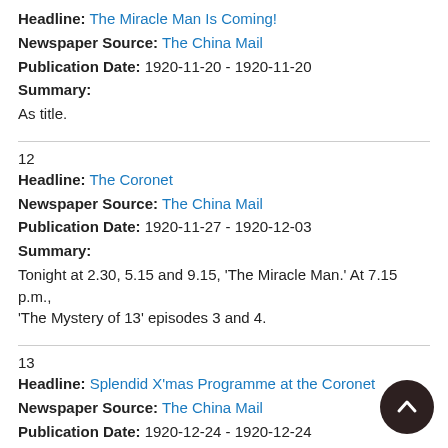Headline: The Miracle Man Is Coming!
Newspaper Source: The China Mail
Publication Date: 1920-11-20 - 1920-11-20
Summary:
As title.
12
Headline: The Coronet
Newspaper Source: The China Mail
Publication Date: 1920-11-27 - 1920-12-03
Summary:
Tonight at 2.30, 5.15 and 9.15, 'The Miracle Man.' At 7.15 p.m., 'The Mystery of 13' episodes 3 and 4.
13
Headline: Splendid X'mas Programme at the Coronet
Newspaper Source: The China Mail
Publication Date: 1920-12-24 - 1920-12-24
Summary:
Today, tomorrow and Monday at 2.30 p.m., 5 sharp, 7.15 and 9.15, Sunday at 6 and 9.15, ring up 1743 now and book. Harold Lloyd in